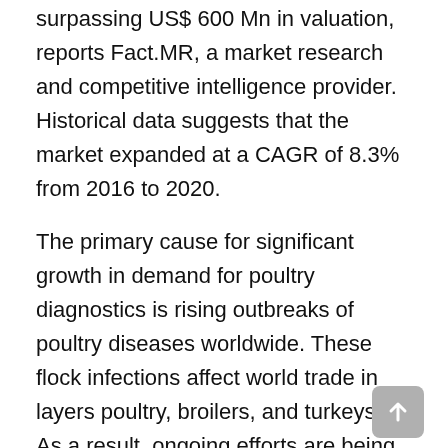surpassing US$ 600 Mn in valuation, reports Fact.MR, a market research and competitive intelligence provider. Historical data suggests that the market expanded at a CAGR of 8.3% from 2016 to 2020.
The primary cause for significant growth in demand for poultry diagnostics is rising outbreaks of poultry diseases worldwide. These flock infections affect world trade in layers poultry, broilers, and turkeys. As a result, ongoing efforts are being made to increase awareness among farmers about these diseases. Different bacteria, fungi, viruses, protozoon pathogens, and environment and